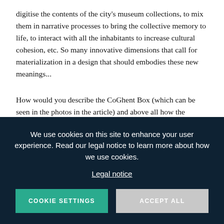digitise the contents of the city's museum collections, to mix them in narrative processes to bring the collective memory to life, to interact with all the inhabitants to increase cultural cohesion, etc. So many innovative dimensions that call for materialization in a design that should embodies these new meanings...
How would you describe the CoGhent Box (which can be seen in the photos in the article) and above all how the project partners interpret it? The result is definitely a hybrid. The clean, white exterior is somewhere between an art biennial pavilion...
We use cookies on this site to enhance your user experience. Read our legal notice to learn more about how we use cookies.
Legal notice
COOKIE SETTINGS
ACCEPT ALL